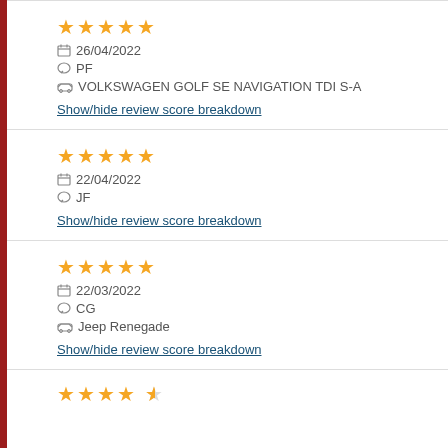★★★★★ 26/04/2022 PF VOLKSWAGEN GOLF SE NAVIGATION TDI S-A Show/hide review score breakdown
★★★★★ 22/04/2022 JF Show/hide review score breakdown
★★★★★ 22/03/2022 CG Jeep Renegade Show/hide review score breakdown
★★★★☆ (partial)